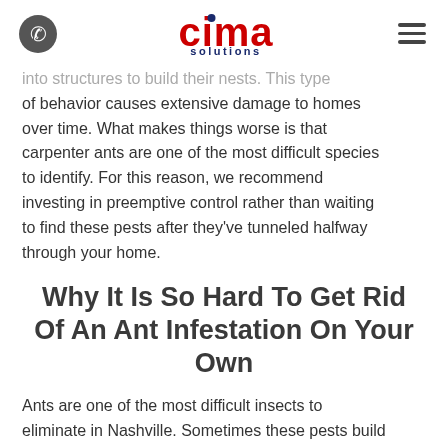cima solutions
into structures to build their nests. This type of behavior causes extensive damage to homes over time. What makes things worse is that carpenter ants are one of the most difficult species to identify. For this reason, we recommend investing in preemptive control rather than waiting to find these pests after they've tunneled halfway through your home.
Why It Is So Hard To Get Rid Of An Ant Infestation On Your Own
Ants are one of the most difficult insects to eliminate in Nashville. Sometimes these pests build